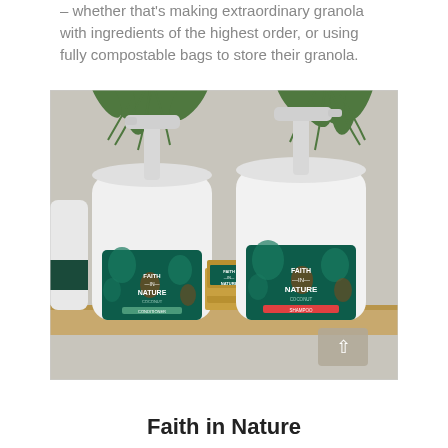– whether that's making extraordinary granola with ingredients of the highest order, or using fully compostable bags to store their granola.
[Figure (photo): Two large white pump-dispenser bottles of Faith in Nature Coconut Conditioner and Shampoo on a wooden shelf, with a stack of cardboard soap boxes between them and hanging fern plants above. A partial third bottle is visible on the left edge.]
Faith in Nature